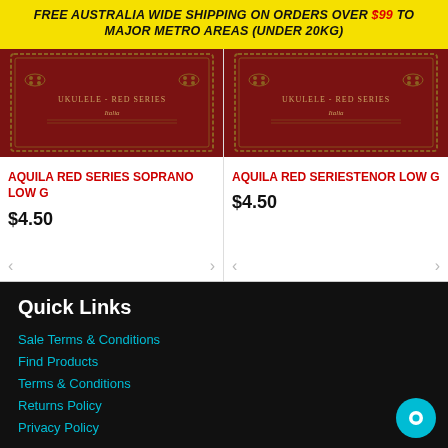FREE AUSTRALIA WIDE SHIPPING ON ORDERS OVER $99 TO MAJOR METRO AREAS (UNDER 20KG)
[Figure (photo): Aquila Red Series Ukulele product image on dark red background with decorative rope border and text 'Ukulele - Red Series Italia']
AQUILA RED SERIES SOPRANO LOW G
$4.50
[Figure (photo): Aquila Red Series Ukulele product image on dark red background with decorative rope border and text 'Ukulele - Red Series Italia']
AQUILA RED SERIESTENOR LOW G
$4.50
Quick Links
Sale Terms & Conditions
Find Products
Terms & Conditions
Returns Policy
Privacy Policy